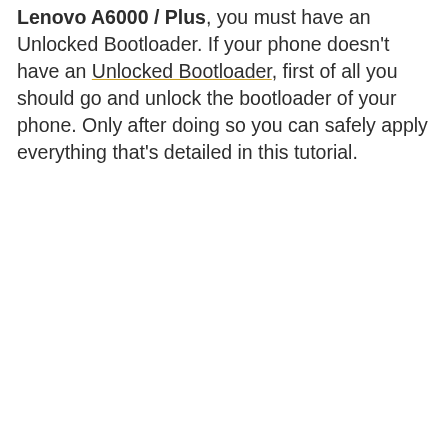Lenovo A6000 / Plus, you must have an Unlocked Bootloader. If your phone doesn't have an Unlocked Bootloader, first of all you should go and unlock the bootloader of your phone. Only after doing so you can safely apply everything that's detailed in this tutorial.